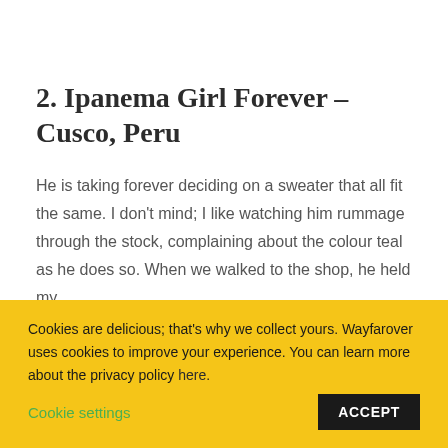2. Ipanema Girl Forever – Cusco, Peru
He is taking forever deciding on a sweater that all fit the same. I don't mind; I like watching him rummage through the stock, complaining about the colour teal as he does so. When we walked to the shop, he held my
Cookies are delicious; that's why we collect yours. Wayfarover uses cookies to improve your experience. You can learn more about the privacy policy here. Cookie settings ACCEPT